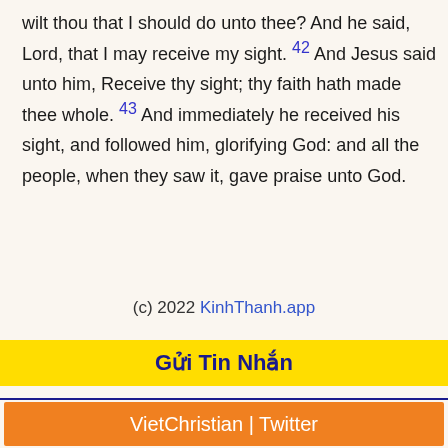wilt thou that I should do unto thee? And he said, Lord, that I may receive my sight. 42 And Jesus said unto him, Receive thy sight; thy faith hath made thee whole. 43 And immediately he received his sight, and followed him, glorifying God: and all the people, when they saw it, gave praise unto God.
(c) 2022 KinhThanh.app
Gửi Tin Nhắn
VietChristian | Twitter